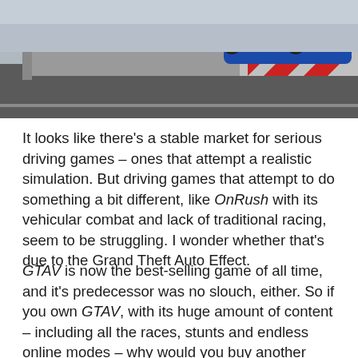[Figure (photo): A racing game screenshot showing a blue race car on a track with red and white barriers]
It looks like there's a stable market for serious driving games – ones that attempt a realistic simulation. But driving games that attempt to do something a bit different, like OnRush with its vehicular combat and lack of traditional racing, seem to be struggling. I wonder whether that's due to the Grand Theft Auto Effect.
GTAV is now the best-selling game of all time, and it's predecessor was no slouch, either. So if you own GTAV, with its huge amount of content – including all the races, stunts and endless online modes – why would you buy another game that is narrowly focused on driving? In GTAV you can race to your heart's content, but you can also do tons of other stuff like bank raids and flying – so suddenly buying a game that's just